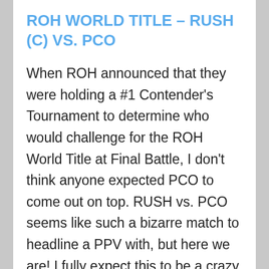ROH WORLD TITLE – RUSH (C) VS. PCO
When ROH announced that they were holding a #1 Contender's Tournament to determine who would challenge for the ROH World Title at Final Battle, I don't think anyone expected PCO to come out on top. RUSH vs. PCO seems like such a bizarre match to headline a PPV with, but here we are! I fully expect this to be a crazy, out-of-control brawl. Realistically, that's the only kind of match these two could possibly do together. RUSH will do his usual stuff, and I'm sure PCO will do a number of his wild stunts. RUSH seems